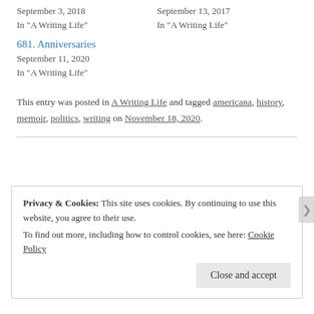September 3, 2018
In "A Writing Life"
September 13, 2017
In "A Writing Life"
681. Anniversaries
September 11, 2020
In "A Writing Life"
This entry was posted in A Writing Life and tagged americana, history, memoir, politics, writing on November 18, 2020.
Privacy & Cookies: This site uses cookies. By continuing to use this website, you agree to their use.
To find out more, including how to control cookies, see here: Cookie Policy